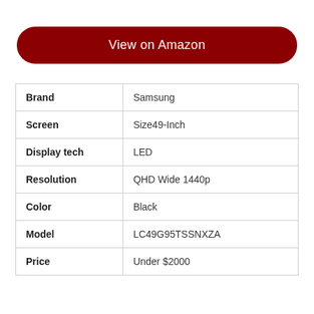[Figure (other): Dark red rounded button with white text reading 'View on Amazon']
| Brand | Samsung |
| Screen | Size49-Inch |
| Display tech | LED |
| Resolution | QHD Wide 1440p |
| Color | Black |
| Model | LC49G95TSSNXZA |
| Price | Under $2000 |